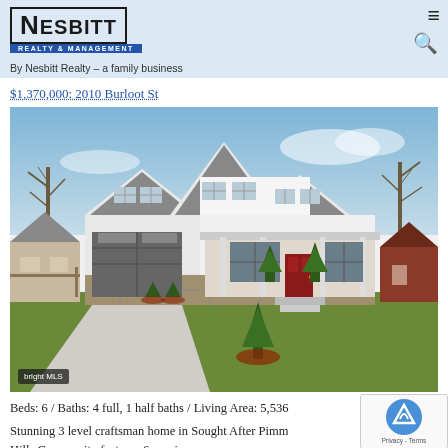Nesbitt Realty & Management — By Nesbitt Realty – a family business
$1,370,000: 2010 Burloot St
[Figure (photo): Exterior photo of a large white 3-level craftsman-style home with stone accents, covered porch, 2-car garage, driveway, and landscaped front yard with evergreen shrubs. Bright MLS watermark in bottom left.]
Beds: 6 / Baths: 4 full, 1 half baths / Living Area: 5,536
Stunning 3 level craftsman home in Sought After Pimm Hills Community features 6 spacious rooms